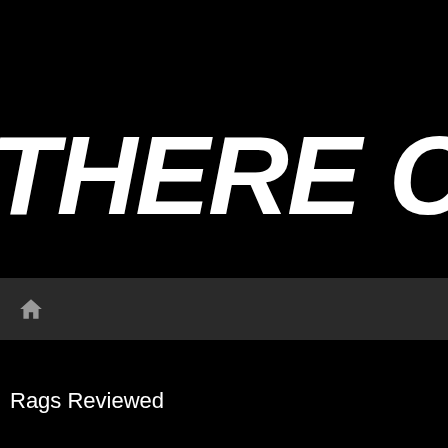THERE CA
[Figure (screenshot): Navigation bar with home icon]
Rags Reviewed